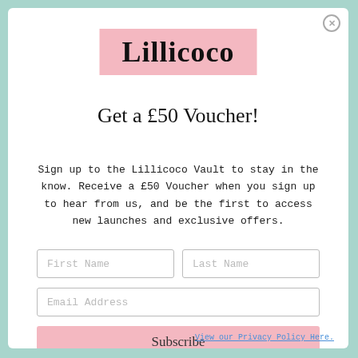[Figure (logo): Lillicoco brand logo: bold black text on a pink background rectangle]
Get a £50 Voucher!
Sign up to the Lillicoco Vault to stay in the know. Receive a £50 Voucher when you sign up to hear from us, and be the first to access new launches and exclusive offers.
First Name | Last Name (input fields)
Email Address (input field)
Subscribe (button)
View our Privacy Policy Here.